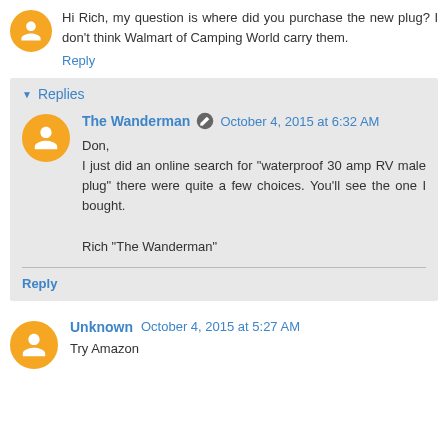Hi Rich, my question is where did you purchase the new plug? I don't think Walmart of Camping World carry them.
Reply
Replies
The Wanderman  October 4, 2015 at 6:32 AM
Don,
I just did an online search for "waterproof 30 amp RV male plug" there were quite a few choices. You'll see the one I bought.

Rich "The Wanderman"
Reply
Unknown  October 4, 2015 at 5:27 AM
Try Amazon